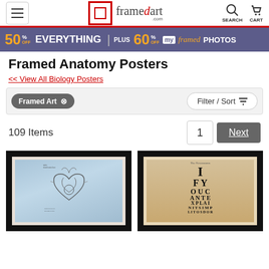[Figure (screenshot): FramedArt.com website header with hamburger menu, logo, search and cart icons]
[Figure (infographic): Promotional banner: 50% off everything plus 60% off my framed photos, purple background with orange text]
Framed Anatomy Posters
<< View All Biology Posters
Framed Art ⊗
Filter / Sort
109 Items
1  Next
[Figure (photo): Framed poster of Leonardo da Vinci anatomical heart drawing on blue background]
[Figure (photo): Framed eye chart poster on vintage paper background reading IF YOU CAN XPLAI NITSIMPP LITOSDOR]